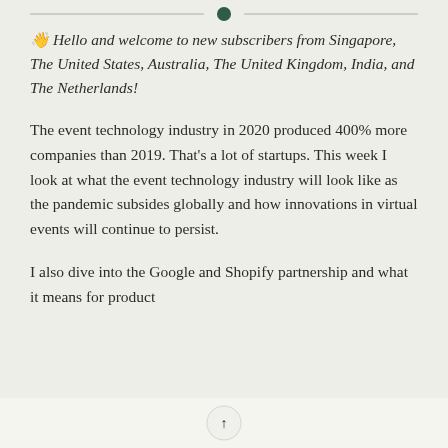— top divider with green dot —
👋 Hello and welcome to new subscribers from Singapore, The United States, Australia, The United Kingdom, India, and The Netherlands!
The event technology industry in 2020 produced 400% more companies than 2019. That's a lot of startups. This week I look at what the event technology industry will look like as the pandemic subsides globally and how innovations in virtual events will continue to persist.
I also dive into the Google and Shopify partnership and what it means for product
↑